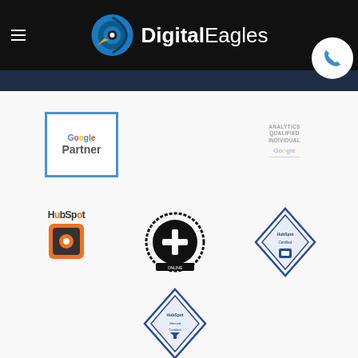Digital Eagles
[Figure (logo): Google Partner badge with blue border and Google logo]
[Figure (logo): Analytics Qualified Individual - Google badge (small text, faint)]
[Figure (logo): HubSpot logo and certification badge]
[Figure (logo): Black circular badge with central emblem - certified]
[Figure (logo): Blue diamond shaped badge - HubSpot certified]
[Figure (logo): Blue diamond shaped badge - HubSpot training]